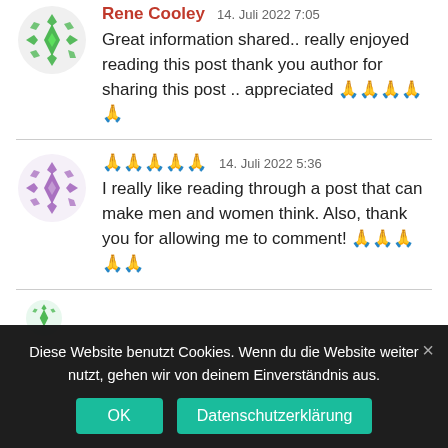[Figure (illustration): Green geometric avatar icon (snowflake/diamond pattern) for user Rene Cooley]
Rene Cooley   14. Juli 2022 7:05
Great information shared.. really enjoyed reading this post thank you author for sharing this post .. appreciated 🙏🙏🙏🙏🙏
[Figure (illustration): Purple geometric avatar icon (snowflake/diamond pattern) for second commenter]
🙏🙏🙏🙏🙏   14. Juli 2022 5:36
I really like reading through a post that can make men and women think. Also, thank you for allowing me to comment! 🙏🙏🙏🙏🙏
[Figure (illustration): Partial green avatar icon at bottom]
Diese Website benutzt Cookies. Wenn du die Website weiter nutzt, gehen wir von deinem Einverständnis aus.